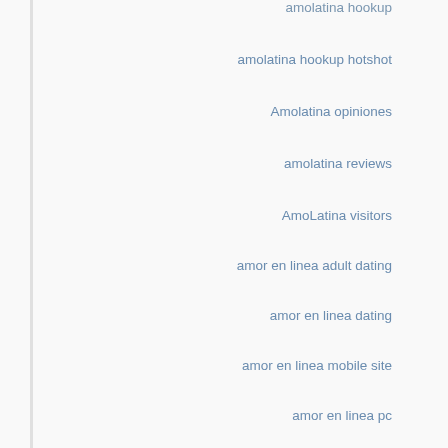amolatina hookup
amolatina hookup hotshot
Amolatina opiniones
amolatina reviews
AmoLatina visitors
amor en linea adult dating
amor en linea dating
amor en linea mobile site
amor en linea pc
amor en linea search